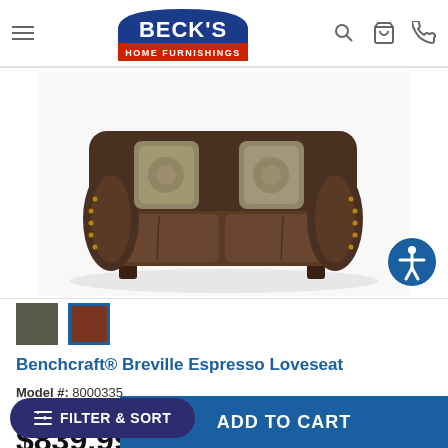[Figure (logo): Beck's Home Furnishings logo - blue arch shape with white BECK'S text and red banner with HOME FURNISHINGS]
[Figure (photo): Benchcraft Breville Espresso Loveseat - dark brown faux leather loveseat with rolled arms, nailhead trim, turned legs, and two decorative pillows]
[Figure (other): Color swatches: gray/charcoal swatch and espresso/dark red swatch (selected, highlighted with blue border)]
Benchcraft® Breville Espresso Loveseat
Model #: 8000335
5 ★★★★★ (1)
$839.99